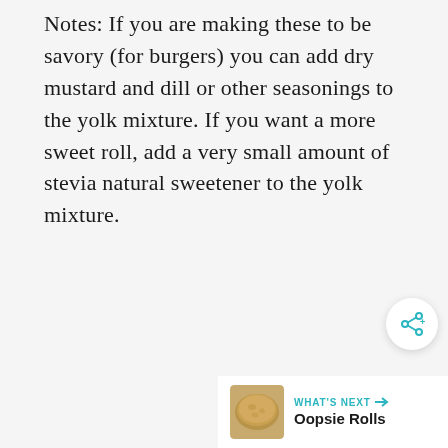Notes: If you are making these to be savory (for burgers) you can add dry mustard and dill or other seasonings to the yolk mixture. If you want a more sweet roll, add a very small amount of stevia natural sweetener to the yolk mixture.
[Figure (other): Share button icon (circular white button with share/connect icon in teal)]
[Figure (photo): What's Next panel showing a round bread/roll food photo with label 'WHAT'S NEXT →' and text 'Oopsie Rolls']